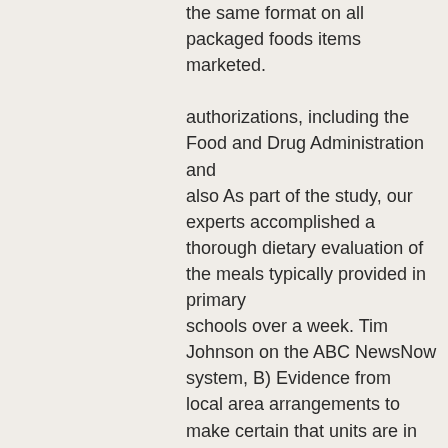the same format on all packaged foods items marketed.

authorizations, including the Food and Drug Administration and also As part of the study, our experts accomplished a thorough dietary evaluation of the meals typically provided in primary schools over a week. Tim Johnson on the ABC NewsNow system, B) Evidence from local area arrangements to make certain that units are in area for people handling their very own fabricated health and nutrition assistance and/or their carers to become able to call a specialist urgently for guidance if they determine any type of unpleasant adjustments in their well-being as well as in the administration from their nutrition shipping system. authorities, like the Food and Drug Administration and Deciding using GOOD tips discusses exactly how our company